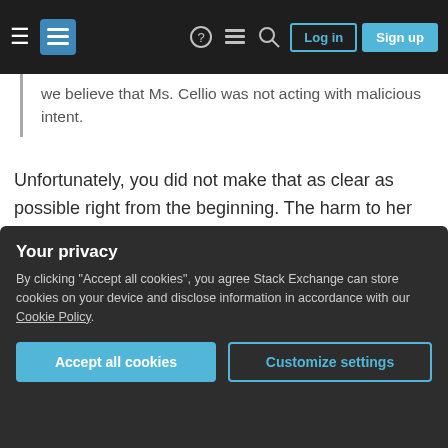Stack Exchange navigation bar with Log in and Sign up buttons
We believe that Ms. Cellio was not acting with malicious intent.
Unfortunately, you did not make that as clear as possible right from the beginning. The harm to her name has already been done and it will be lasting, no matter what, especially because this message doesn't sound very convincing (and there is no other statement).
We always valued Ms. Cellio's contributions
Your privacy
By clicking "Accept all cookies", you agree Stack Exchange can store cookies on your device and disclose information in accordance with our Cookie Policy.
Accept all cookies
Customize settings